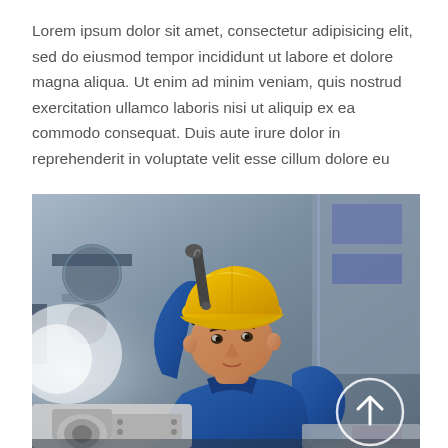Lorem ipsum dolor sit amet, consectetur adipisicing elit, sed do eiusmod tempor incididunt ut labore et dolore magna aliqua. Ut enim ad minim veniam, quis nostrud exercitation ullamco laboris nisi ut aliquip ex ea commodo consequat. Duis aute irure dolor in reprehenderit in voluptate velit esse cillum dolore eu
[Figure (photo): A male industrial worker wearing a yellow hard hat and blue coveralls, working with machinery in a factory setting. He is using a tool, leaning forward toward equipment. A circular arrow icon (upward arrow in a circle) is visible in the lower right corner of the image.]